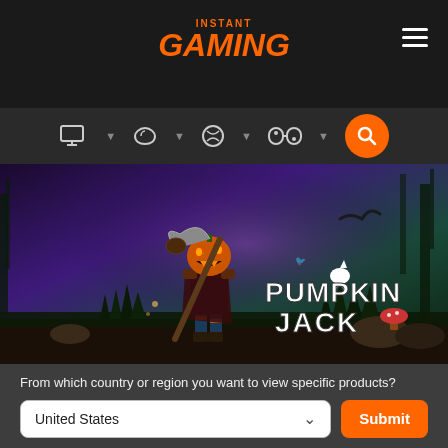INSTANT GAMING
[Figure (screenshot): Instant Gaming website navbar with PC, PlayStation, Xbox, Nintendo platform icons and a search button]
[Figure (photo): Pumpkin Jack game promotional art showing a pumpkin-headed character with a scythe in a dark fantasy forest, with the Pumpkin Jack logo]
From which country or region you want to view specific products?
United States
Submit